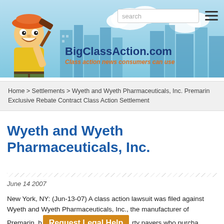[Figure (illustration): BigClassAction.com website header banner with cartoon character holding a gavel, city skyline background, site name and tagline, plus search bar and hamburger menu.]
Home > Settlements > Wyeth and Wyeth Pharmaceuticals, Inc. Premarin Exclusive Rebate Contract Class Action Settlement
Wyeth and Wyeth Pharmaceuticals, Inc.
June 14 2007
New York, NY: (Jun-13-07) A class action lawsuit was filed against Wyeth and Wyeth Pharmaceuticals, Inc., the manufacturer of Premarin, by third party payers who purcha...